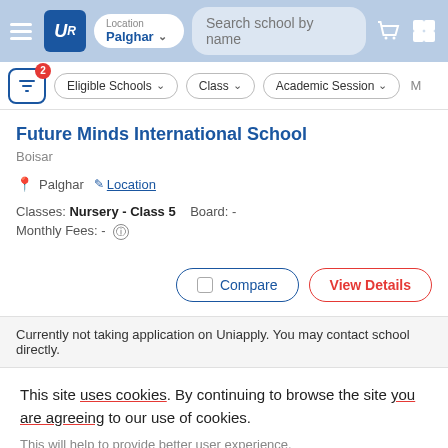[Figure (screenshot): Navigation bar with hamburger menu, UR logo, location selector showing Palghar, search bar, cart and grid icons]
[Figure (screenshot): Filter bar with active filter badge (2), Eligible Schools dropdown, Class dropdown, Academic Session dropdown]
Future Minds International School
Boisar
Palghar  Location
Classes: Nursery - Class 5   Board: -
Monthly Fees: -
Compare   View Details
Currently not taking application on Uniapply. You may contact school directly.
This site uses cookies. By continuing to browse the site you are agreeing to our use of cookies.
This will help to provide better user experience.
Ok, I Understand